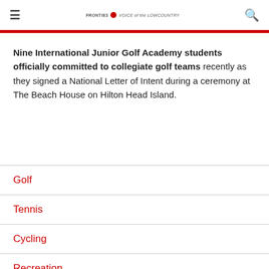≡  FRONTIE3 ❶ VOICE of the LOWCOUNTRY  🔍
Nine International Junior Golf Academy students officially committed to collegiate golf teams recently as they signed a National Letter of Intent during a ceremony at The Beach House on Hilton Head Island.
Golf
Tennis
Cycling
Recreation